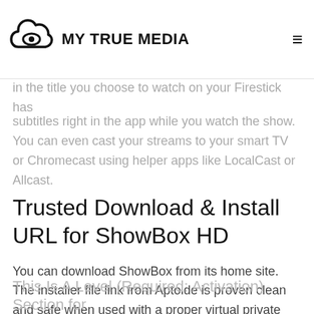MY TRUE MEDIA
in the title you choose to watch on your Firestick has subtitles at opensubtitles.org, then the great integration with ShowBox HD will let you have streamed subtitles right in the app while you watch the show. You can even cast your streams to your smart TV or Chromecast using helper apps like LocalCast or Allcast.
Trusted Download & Install URL for ShowBox HD
You can download ShowBox from its home site. The installer file link from Aptoide is proven clean and safe when used with a proper virtual private network app connection.
showbox.en.aptoide.com
This Is A Level (Required: Activation) Section for